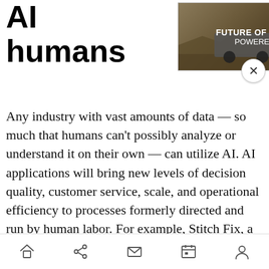AI humans
[Figure (screenshot): Advertisement banner: 'FUTURE OF TRUCKING POWERED BY AI' with truck image and GPlusAI logo, with close X button]
Any industry with vast amounts of data — so much that humans can't possibly analyze or understand it on their own — can utilize AI. AI applications will bring new levels of decision quality, customer service, scale, and operational efficiency to processes formerly directed and run by human labor. For example, Stitch Fix, a personalized shopping company, showcases the synergies created between people and AI. Stitch Fix uses AI to narrow down merchandise selection but leaves the final choice of items and personal touch to
Navigation bar with home, share, mail, calendar, and profile icons